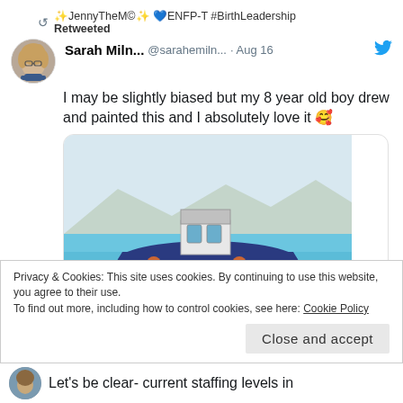✨JennyTheM©✨ 💙ENFP-T #BirthLeadership Retweeted
Sarah Miln... @sarahemiln... · Aug 16
I may be slightly biased but my 8 year old boy drew and painted this and I absolutely love it 🥰
[Figure (illustration): Child's watercolor painting of a dark blue boat on blue water, with a white cabin structure on deck, orange circular portholes, and reflections in the water. Mountains visible in the background.]
Privacy & Cookies: This site uses cookies. By continuing to use this website, you agree to their use.
To find out more, including how to control cookies, see here: Cookie Policy
Close and accept
Let's be clear- current staffing levels in